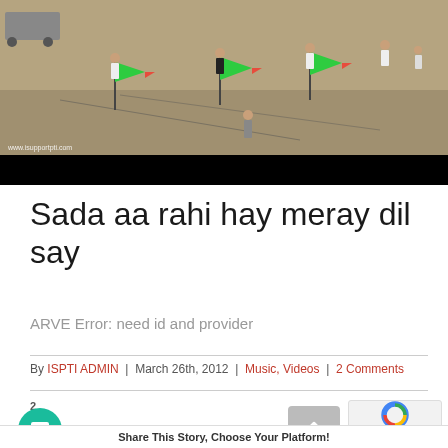[Figure (photo): People waving red-green flags on an open ground, viewed from above. Watermark reads www.isupportpti.com. Black bar at bottom of image area.]
Sada aa rahi hay meray dil say
ARVE Error: need id and provider
By ISPTI ADMIN | March 26th, 2012 | Music, Videos | 2 Comments
2
Share This Story, Choose Your Platform!